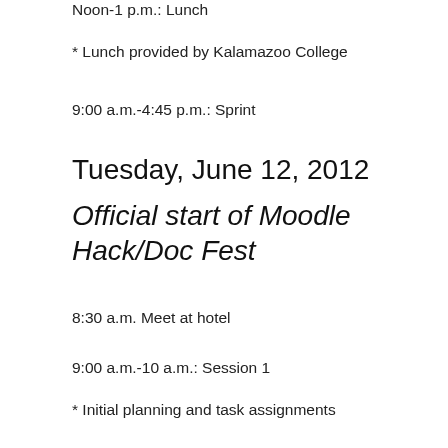Noon-1 p.m.: Lunch
* Lunch provided by Kalamazoo College
9:00 a.m.-4:45 p.m.: Sprint
Tuesday, June 12, 2012
Official start of Moodle Hack/Doc Fest
8:30 a.m. Meet at hotel
9:00 a.m.-10 a.m.: Session 1
* Initial planning and task assignments
10 a.m.-10:15 a.m. Break